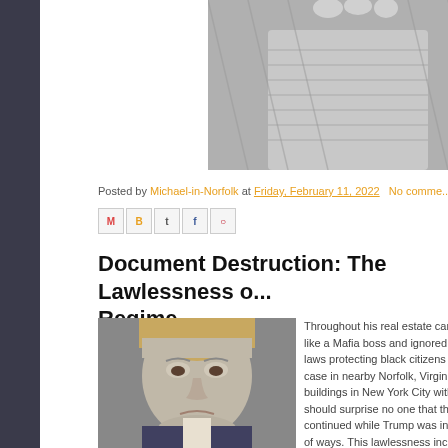[Figure (photo): Partial view of a person in a knitted/woven garment, black and white photo, cropped at top of page]
Posted by Michael-in-Norfolk at Friday, February 11, 2022   No comme...
[Figure (other): Social share buttons: Email, BlogThis, Twitter, Facebook, Pinterest]
Document Destruction: The Lawlessness o... Regime
[Figure (photo): Portrait photo of Donald Trump, close-up, serious expression]
Throughout his real estate career... like a Mafia boss and ignored the... laws protecting black citizens - Tru... case in nearby Norfolk, Virginia - ... buildings in New York City without... should surprise no one that this pa... continued while Trump was in the... of ways. This lawlessness include... were required to be kept under...